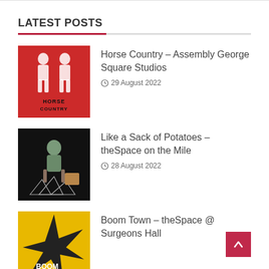LATEST POSTS
Horse Country – Assembly George Square Studios
29 August 2022
Like a Sack of Potatoes – theSpace on the Mile
28 August 2022
Boom Town – theSpace @ Surgeons Hall